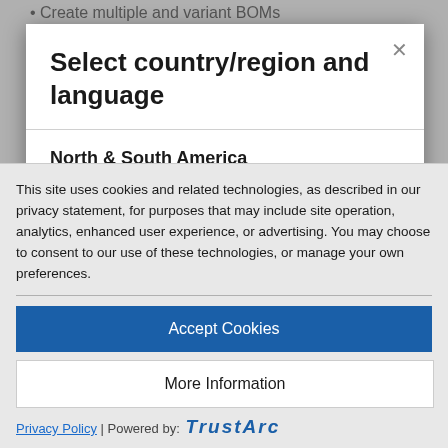Create multiple and variant BOMs
Select country/region and language
North & South America
Argentina [EN] [ES]
This site uses cookies and related technologies, as described in our privacy statement, for purposes that may include site operation, analytics, enhanced user experience, or advertising. You may choose to consent to our use of these technologies, or manage your own preferences.
Accept Cookies
More Information
Privacy Policy | Powered by:
Costa Rica [EN] [ES]